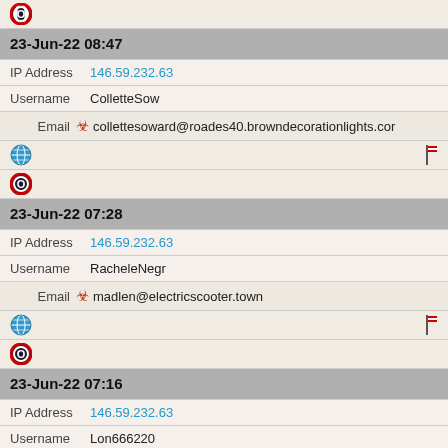[Figure (logo): Opera browser icon (blue O logo)]
23-Jun-22 08:47
IP Address  146.59.232.63
Username  ColletteSow
Email  collettesoward@roades40.browndecorationlights.com
[Figure (logo): Globe/internet icon and red flag icon]
[Figure (logo): Opera browser icon (blue O logo)]
23-Jun-22 07:28
IP Address  146.59.232.63
Username  RacheleNegr
Email  madlen@electricscooter.town
[Figure (logo): Globe/internet icon and red flag icon]
[Figure (logo): Opera browser icon (blue O logo)]
23-Jun-22 07:16
IP Address  146.59.232.63
Username  Lon666220
Email  aureliomcsharry@wwjmp.com